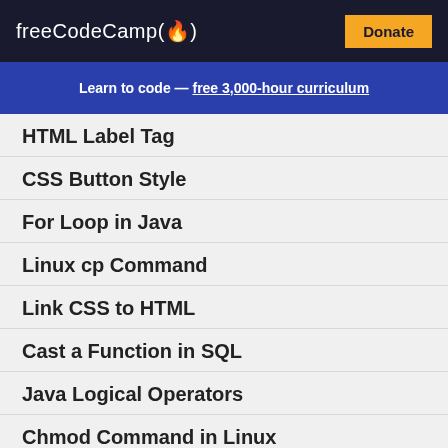freeCodeCamp(🔥) Donate
Learn to code — free 3,000-hour curriculum
HTML Label Tag
CSS Button Style
For Loop in Java
Linux cp Command
Link CSS to HTML
Cast a Function in SQL
Java Logical Operators
Chmod Command in Linux
Python Get Last Element
Python Add to Dictionary
Declare an Array in Java